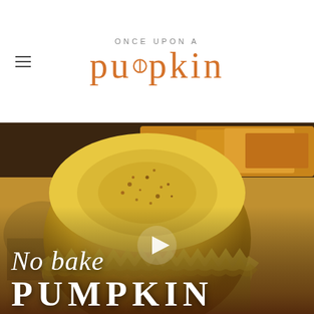ONCE UPON A pumpkin
[Figure (photo): Close-up photo of a no-bake pumpkin cheesecake cup in a gold foil liner, topped with cinnamon, with more cups visible in background. A play button overlay is visible. Text overlay reads 'No bake PUMPKIN'.]